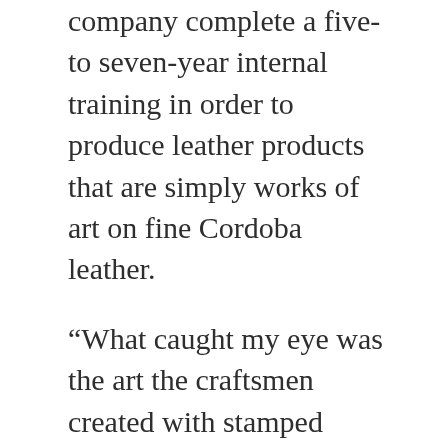company complete a five- to seven-year internal training in order to produce leather products that are simply works of art on fine Cordoba leather.
“What caught my eye was the art the craftsmen created with stamped leather,” Brenda said. “They apply a stamped design to a thick cardboard before actually applying to the leather of choice. I was so impressed with the precision and attention to detail even with the cardboard sample that I bought their remnant for myself. I began to think of how this technique could be applied to window treatments. A stamped leather cutting would look